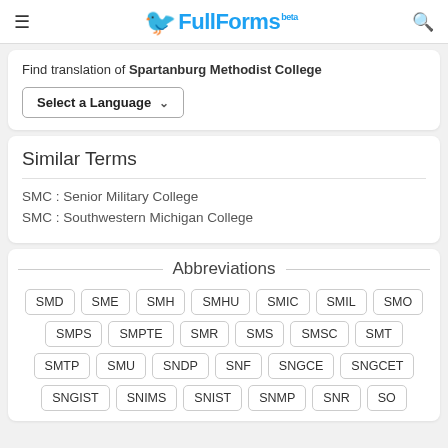FullForms
Find translation of Spartanburg Methodist College
Select a Language
Similar Terms
SMC : Senior Military College
SMC : Southwestern Michigan College
Abbreviations
SMD SME SMH SMHU SMIC SMIL SMO SMPS SMPTE SMR SMS SMSC SMT SMTP SMU SNDP SNF SNGCE SNGCET SNGIST SNIMS SNIST SNMP SNR SO